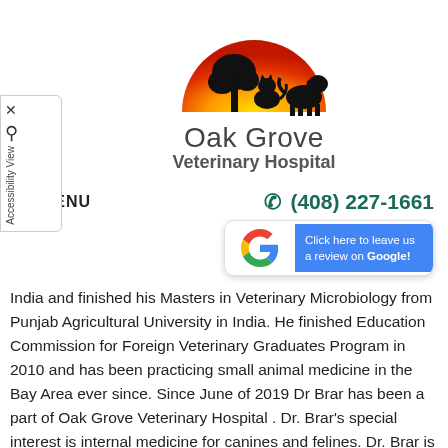[Figure (logo): Oak Grove Veterinary Hospital logo — a semicircular sunset (yellow to orange-red gradient) with black silhouettes of a tree, a cat, and a dog]
Oak Grove
Veterinary Hospital
≡  MENU          ☎ (408) 227-1661
[Figure (other): Google review button: Google G logo on white background, blue box saying 'Click here to leave us a review on Google!']
India and finished his Masters in Veterinary Microbiology from Punjab Agricultural University in India. He finished Education Commission for Foreign Veterinary Graduates Program in 2010 and has been practicing small animal medicine in the Bay Area ever since. Since June of 2019 Dr Brar has been a part of Oak Grove Veterinary Hospital . Dr. Brar's special interest is internal medicine for canines and felines. Dr. Brar is an active member of AVMA and CVMA.